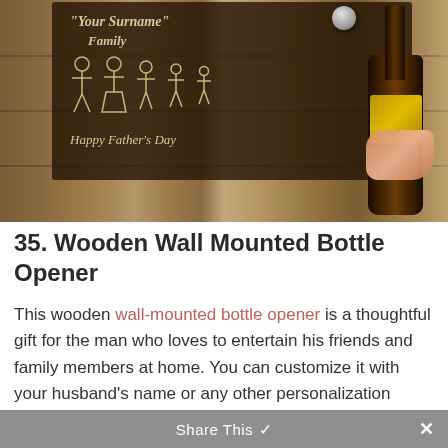[Figure (photo): A wooden wall-mounted bottle opener plaque showing engraved text '"Your Surname" Family' with stick figure family drawings and 'Happy Father's Day'. A hand holds a brown beer bottle against the opener. Wood panel background.]
35. Wooden Wall Mounted Bottle Opener
This wooden wall-mounted bottle opener is a thoughtful gift for the man who loves to entertain his friends and family members at home. You can customize it with your husband's name or any other personalization
Share This ×